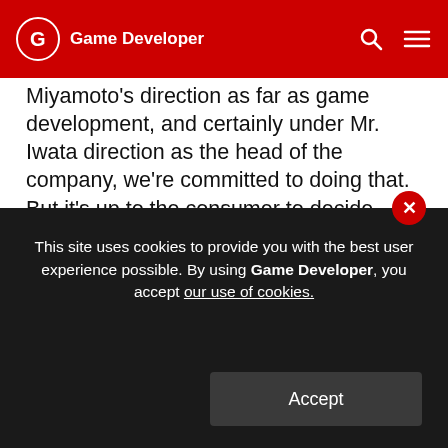Game Developer
Miyamoto's direction as far as game development, and certainly under Mr. Iwata direction as the head of the company, we're committed to doing that. But it's up to the consumer to decide. We're going to keep working what they want, both the core and the expanded audience. We're going to continue to give them what they want. Something, to change track, that Mr. Iwata alluded to in the speech was Nintendo holding back… There's been concern, especially on the part of third-party developers, that it's hard to compete against
This site uses cookies to provide you with the best user experience possible. By using Game Developer, you accept our use of cookies.
Accept